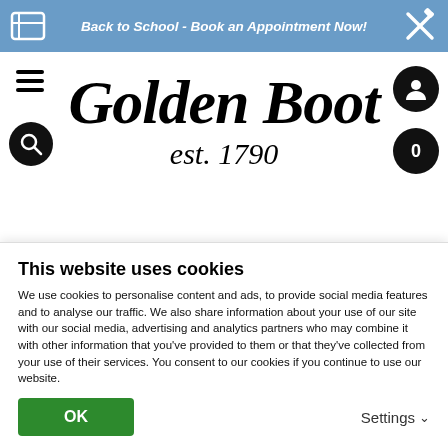Back to School - Book an Appointment Now!
[Figure (logo): Golden Boot est. 1790 script logo with hamburger menu, search, account and cart icons]
Mens Walking Sandals
Mules
Colour
Size
This website uses cookies
We use cookies to personalise content and ads, to provide social media features and to analyse our traffic. We also share information about your use of our site with our social media, advertising and analytics partners who may combine it with other information that you've provided to them or that they've collected from your use of their services. You consent to our cookies if you continue to use our website.
OK
Settings